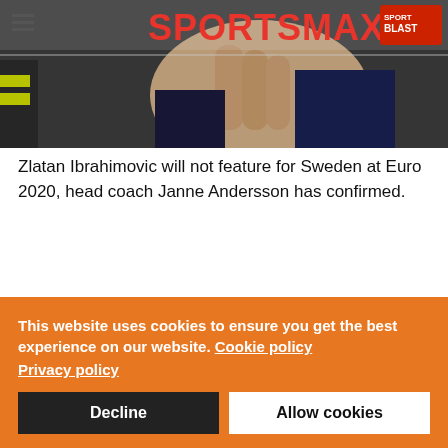[Figure (photo): SportsMax logo overlaid on a photo of a man (likely a footballer or coach) covering his face with his hand at a press conference, wearing a dark jacket with yellow/green accents]
Zlatan Ibrahimovic will not feature for Sweden at Euro 2020, head coach Janne Andersson has confirmed.
This website uses cookies to ensure you get the best experience on our website. Cookie policy
Privacy policy
Decline
Allow cookies